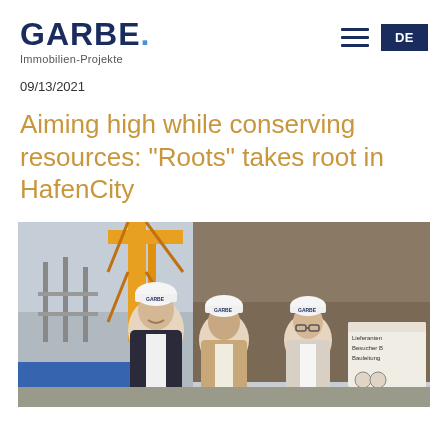GARBE. Immobilien-Projekte
09/13/2021
Aiming high while conserving resources: "Roots" takes root in HafenCity
[Figure (photo): Three people in white hard hats labeled GARBE standing at a construction site in HafenCity, smiling. A yellow crane and reinforced concrete structure visible in the background. A sign reads 'Lieferanten Besucher Bauleitung' on the right.]